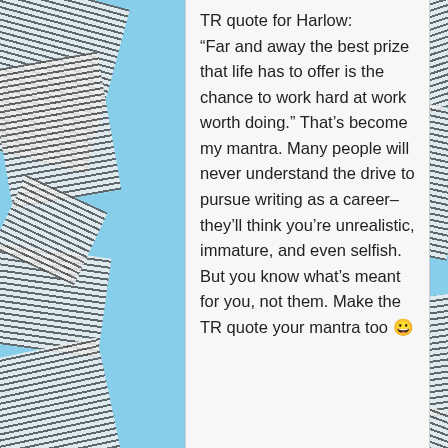[Figure (illustration): Light blue background with scattered newspaper/text scraps rotated at various angles]
TR quote for Harlow: “Far and away the best prize that life has to offer is the chance to work hard at work worth doing.” That’s become my mantra. Many people will never understand the drive to pursue writing as a career–they’ll think you’re unrealistic, immature, and even selfish. But you know what’s meant for you, not them. Make the TR quote your mantra too 😀